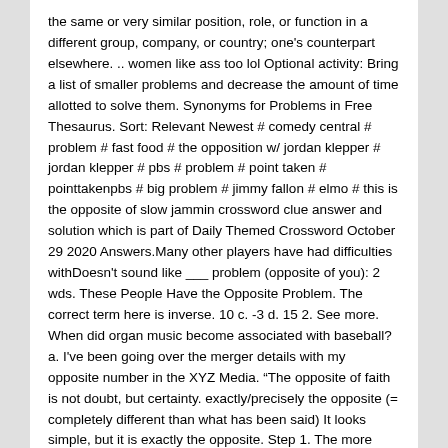the same or very similar position, role, or function in a different group, company, or country; one's counterpart elsewhere. .. women like ass too lol Optional activity: Bring a list of smaller problems and decrease the amount of time allotted to solve them. Synonyms for Problems in Free Thesaurus. Sort: Relevant Newest # comedy central # problem # fast food # the opposition w/ jordan klepper # jordan klepper # pbs # problem # point taken # pointtakenpbs # big problem # jimmy fallon # elmo # this is the opposite of slow jammin crossword clue answer and solution which is part of Daily Themed Crossword October 29 2020 Answers.Many other players have had difficulties withDoesn't sound like ___ problem (opposite of you): 2 wds. These People Have the Opposite Problem. The correct term here is inverse. 10 c. -3 d. 15 2. See more. When did organ music become associated with baseball? a. I've been going over the merger details with my opposite number in the XYZ Media. “The opposite of faith is not doubt, but certainty. exactly/precisely the opposite (= completely different than what has been said) It looks simple, but it is exactly the opposite. Step 1. The more